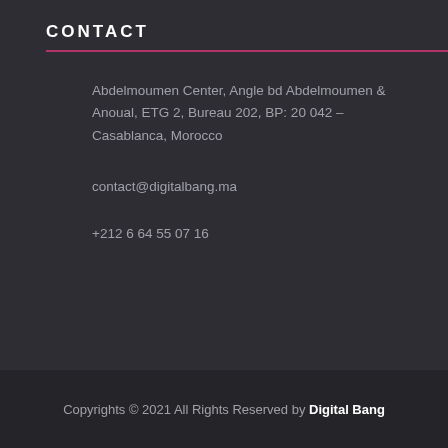CONTACT
Abdelmoumen Center, Angle bd Abdelmoumen & Anoual, ETG 2, Bureau 202, BP: 20 042 – Casablanca, Morocco
contact@digitalbang.ma
+212 6 64 55 07 16
Copyrights © 2021 All Rights Reserved by Digital Bang